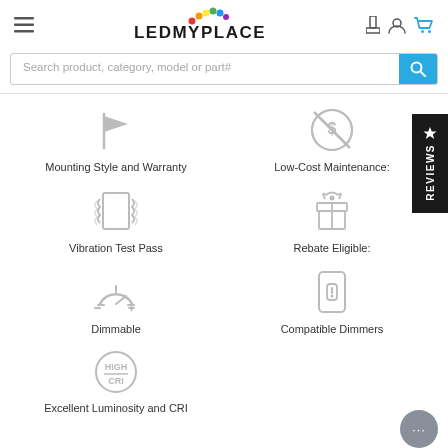LEDMYPLACE - Navigation header with logo, search bar
[Figure (illustration): Feature icon: flag/pennant representing Mounting Style and Warranty]
Mounting Style and Warranty
[Figure (illustration): Feature icon: no-cost circle with dollar sign representing Low-Cost Maintenance]
Low-Cost Maintenance:
[Figure (illustration): Feature icon: vibrating rectangle representing Vibration Test Pass]
Vibration Test Pass
[Figure (illustration): Feature icon: gift box representing Rebate Eligible]
Rebate Eligible:
[Figure (illustration): Feature icon: dimmer arc representing Dimmable]
Dimmable
[Figure (illustration): Feature icon: dimmer switch/light switch representing Compatible Dimmers]
Compatible Dimmers
[Figure (illustration): Feature icon: HIGH CRI badge representing Excellent Luminosity and CRI]
Excellent Luminosity and CRI